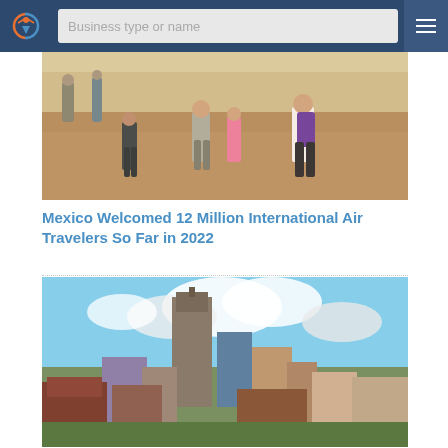Business type or name
[Figure (photo): Airport interior with travelers walking across a shiny floor]
Mexico Welcomed 12 Million International Air Travelers So Far in 2022
[Figure (photo): City skyline with tall buildings and cloudy sky, Nashville cityscape]